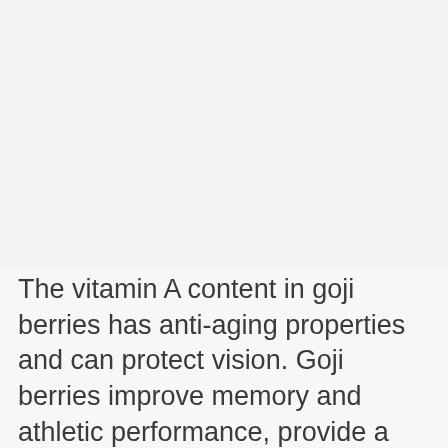[Figure (photo): Large blank/white image placeholder area at the top of the page]
The vitamin A content in goji berries has anti-aging properties and can protect vision. Goji berries improve memory and athletic performance, provide a feeling of health and well-being. By boosting brain health, they can protect us from illnesses like